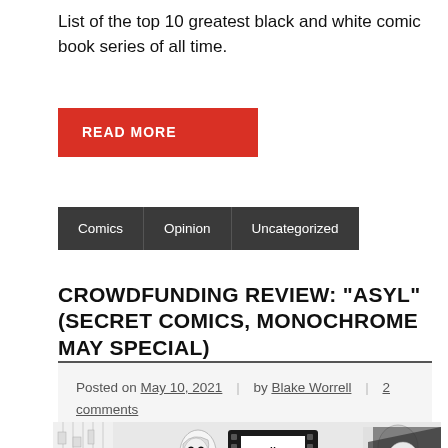List of the top 10 greatest black and white comic book series of all time.
READ MORE
Comics | Opinion | Uncategorized
CROWDFUNDING REVIEW: “ASYL” (SECRET COMICS, MONOCHROME MAY SPECIAL)
Posted on May 10, 2021 | by Blake Worrell | 2 comments
[Figure (illustration): Black and white comic book style illustration showing a woman and a man, with a film-reel style logo reading 'Monochrome May' in the center]